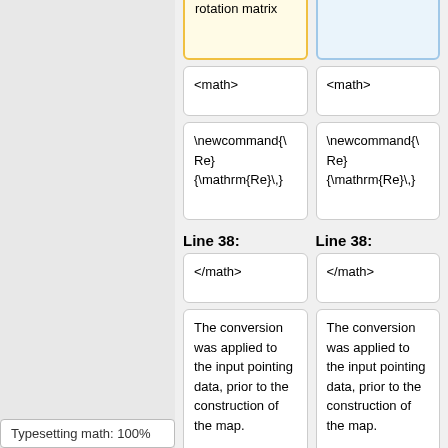system is described by rotation matrix
described by the rotation matrix
<math>
<math>
\newcommand{\Re}{\mathrm{Re}\,}
\newcommand{\Re}{\mathrm{Re}\,}
Line 38:
Line 38:
</math>
</math>
The conversion was applied to the input pointing data, prior to the construction of the map.
The conversion was applied to the input pointing data, prior to the construction of the map.
+
[[File:lfi_noise,i
Typesetting math: 100%